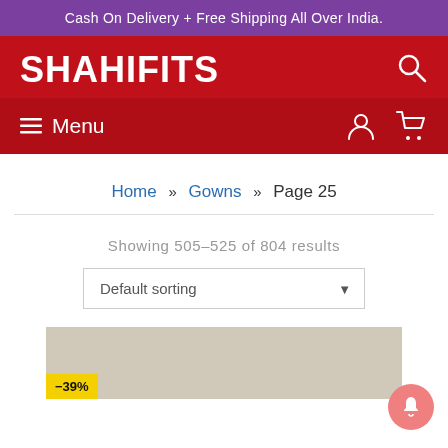Cash On Delivery + Free Shipping All Over India.
SHAHIFITS
Menu
Home » Gowns » Page 25
Showing 505–525 of 804 results
Default sorting
[Figure (photo): Product image partially visible with -39% discount badge]